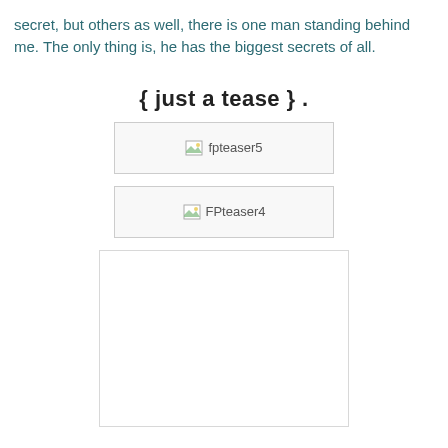secret, but others as well, there is one man standing behind me. The only thing is, he has the biggest secrets of all.
{ just a tease } .
[Figure (photo): Broken image placeholder labeled 'fpteaser5']
[Figure (photo): Broken image placeholder labeled 'FPteaser4']
[Figure (photo): Large empty white image box]